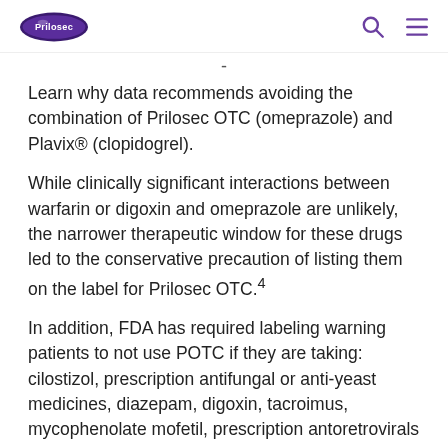Prilosec logo with search and menu icons
Learn why data recommends avoiding the combination of Prilosec OTC (omeprazole) and Plavix® (clopidogrel).
While clinically significant interactions between warfarin or digoxin and omeprazole are unlikely, the narrower therapeutic window for these drugs led to the conservative precaution of listing them on the label for Prilosec OTC.4
In addition, FDA has required labeling warning patients to not use POTC if they are taking: cilostizol, prescription antifungal or anti-yeast medicines, diazepam, digoxin, tacroimus, mycophenolate mofetil, prescription antoretrovirals